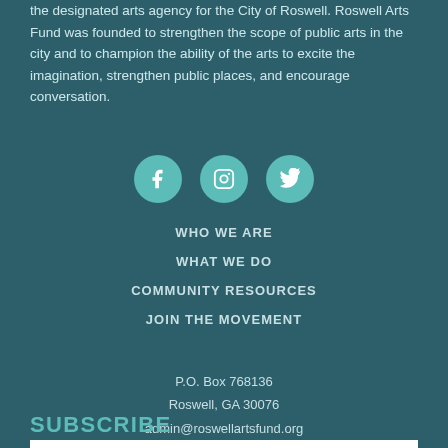the designated arts agency for the City of Roswell. Roswell Arts Fund was founded to strengthen the scope of public arts in the city and to champion the ability of the arts to excite the imagination, strengthen public places, and encourage conversation.
[Figure (infographic): Three teal circular social media icons: Facebook (f), Instagram (camera), Twitter (bird)]
WHO WE ARE
WHAT WE DO
COMMUNITY RESOURCES
JOIN THE MOVEMENT
P.O. Box 768136
Roswell, GA 30076
admin@roswellartsfund.org
SUBSCRIBE